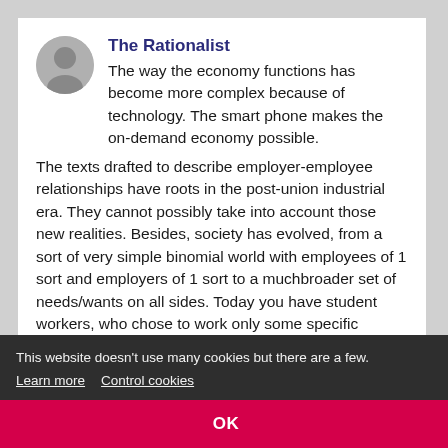The Rationalist
The way the economy functions has become more complex because of technology. The smart phone makes the on-demand economy possible. The texts drafted to describe employer-employee relationships have roots in the post-union industrial era. They cannot possibly take into account those new realities. Besides, society has evolved, from a sort of very simple binomial world with employees of 1 sort and employers of 1 sort to a muchbroader set of needs/wants on all sides. Today you have student workers, who chose to work only some specific weeks, some specific months, people that seek the freedom of working when they chose… Read more »
Reply
This website doesn't use many cookies but there are a few. Learn more   Control cookies
OK